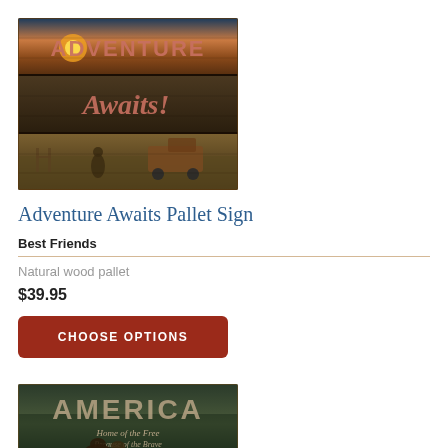[Figure (photo): Adventure Awaits Pallet Sign product photo — rustic wood pallet with text 'Adventure Awaits!' and scenic outdoor/western imagery including sunset, horses, and an old truck]
Adventure Awaits Pallet Sign
Best Friends
Natural wood pallet
$39.95
CHOOSE OPTIONS
[Figure (photo): America Pallet Sign product photo — rustic wood pallet with large text 'AMERICA Home of the Free Because of the Brave' with moose and wildlife imagery]